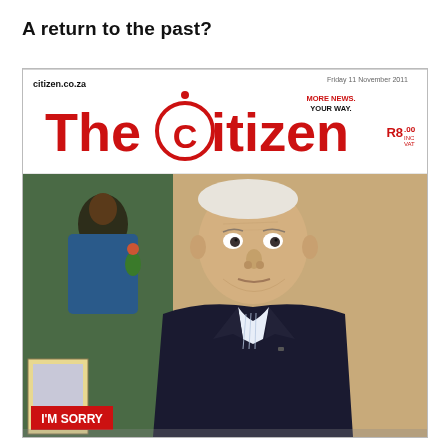A return to the past?
[Figure (photo): Front cover of The Citizen newspaper dated Friday 11 November 2011, showing an elderly man in a dark suit with an 'I'M SORRY' banner at the bottom. The masthead reads 'The Citizen' in large red letters with 'MORE NEWS. YOUR WAY.' tagline and price R8.00 incl VAT. Website citizen.co.za shown top left.]